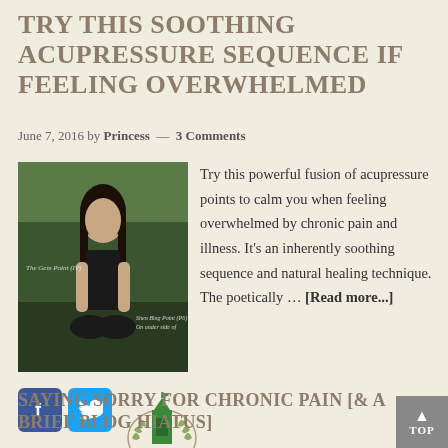TRY THIS SOOTHING ACUPRESSURE SEQUENCE IF FEELING OVERWHELMED
June 7, 2016 by Princess — 3 Comments
[Figure (photo): Woman sitting in meditation pose outdoors, with acupressure points labeled on her body]
Try this powerful fusion of acupressure points to calm you when feeling overwhelmed by chronic pain and illness. It's an inherently soothing sequence and natural healing technique. The poetically … [Read more...]
[Figure (logo): Green building/tower logo with laurel wreath]
SAYING SORRY FOR CHRONIC PAIN [& A BRIEF BLOG HIATUS]